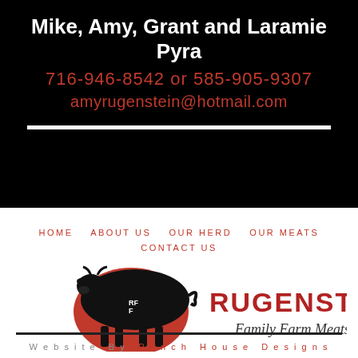Mike, Amy, Grant and Laramie Pyra
716-946-8542 or 585-905-9307
amyrugenstein@hotmail.com
HOME   ABOUT US   OUR HERD   OUR MEATS   CONTACT US
[Figure (logo): Rugenstein Family Farm Meats logo with black cow silhouette over red circle and bold RUGENSTEIN text with cursive Family Farm Meats subtitle]
Website By Ranch House Designs